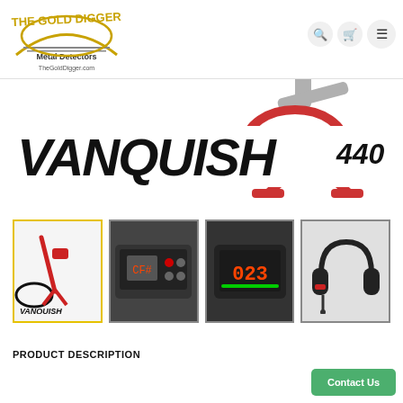[Figure (logo): The Gold Digger Metal Detectors logo with TheGoldDigger.com url]
[Figure (photo): Minelab Vanquish 440 metal detector partially visible at top right]
[Figure (logo): VANQUISH 440 product logo in large bold italic black lettering]
[Figure (photo): Thumbnail 1 (selected, yellow border): Vanquish metal detector full unit with VANQUISH logo below]
[Figure (photo): Thumbnail 2: Close-up of metal detector control panel/display]
[Figure (photo): Thumbnail 3: Close-up of detector display screen showing digits]
[Figure (photo): Thumbnail 4: Black and red headphones]
PRODUCT DESCRIPTION
Contact Us